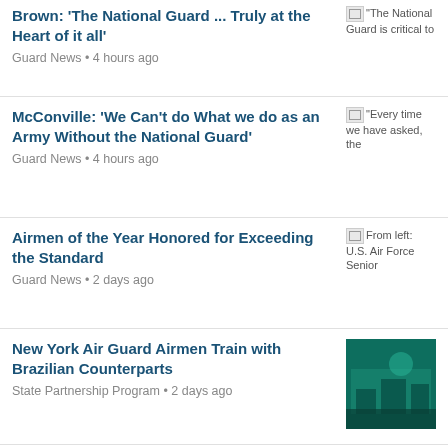Brown: 'The National Guard ... Truly at the Heart of it all' | Guard News • 4 hours ago
McConville: 'We Can't do What we do as an Army Without the National Guard' | Guard News • 4 hours ago
Airmen of the Year Honored for Exceeding the Standard | Guard News • 2 days ago
New York Air Guard Airmen Train with Brazilian Counterparts | State Partnership Program • 2 days ago
Fort Pickett Hosts Guard Chief for Weapons Qualification | Guard News • 2 days ago